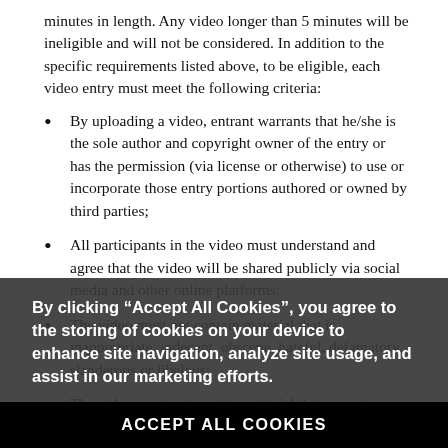minutes in length. Any video longer than 5 minutes will be ineligible and will not be considered. In addition to the specific requirements listed above, to be eligible, each video entry must meet the following criteria:
By uploading a video, entrant warrants that he/she is the sole author and copyright owner of the entry or has the permission (via license or otherwise) to use or incorporate those entry portions authored or owned by third parties;
All participants in the video must understand and agree that the video will be shared publicly via social media and other online platforms;
The video must not contain material that is inappropriate, indecent, obscene, hateful, defamatory, slanderous or libelous;
The video must not contain material that promotes bigotry, racism, hatred or harm against any group or individual or promoted discrimination based on age, disability, gender, nationality, race, religion, or sexual orientation; and
The video must not contain material that is unlawful, in violation of or contrary to the laws or regulations in any state where the video is created.
By clicking “Accept All Cookies”, you agree to the storing of cookies on your device to enhance site navigation, analyze site usage, and assist in our marketing efforts.
ACCEPT ALL COOKIES